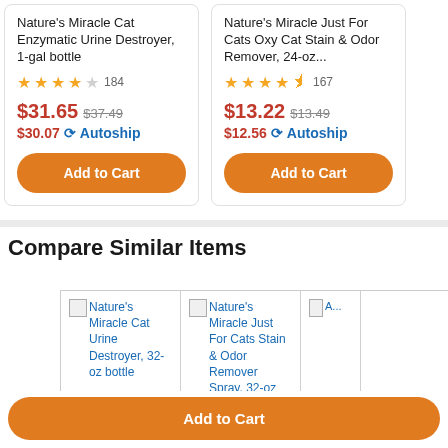Nature's Miracle Cat Enzymatic Urine Destroyer, 1-gal bottle
4/5 stars, 184 reviews, $31.65 (was $37.49), $30.07 Autoship
Nature's Miracle Just For Cats Oxy Cat Stain & Odor Remover, 24-oz..., 4.5/5 stars, 167 reviews, $13.22 (was $13.49), $12.56 Autoship
Compare Similar Items
[Figure (screenshot): Nature's Miracle Cat Urine Destroyer, 32-oz bottle thumbnail]
[Figure (screenshot): Nature's Miracle Just For Cats Stain & Odor Remover Spray, 32-oz thumbnail]